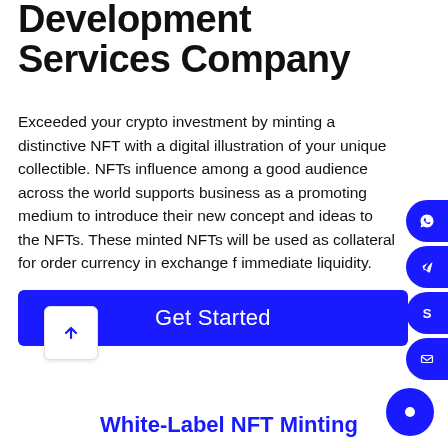Development Services Company
Exceeded your crypto investment by minting a distinctive NFT with a digital illustration of your unique collectible. NFTs influence among a good audience across the world supports business as a promoting medium to introduce their new concept and ideas to the NFTs. These minted NFTs will be used as collateral for order currency in exchange f immediate liquidity.
Get Started
White-Label NFT Minting